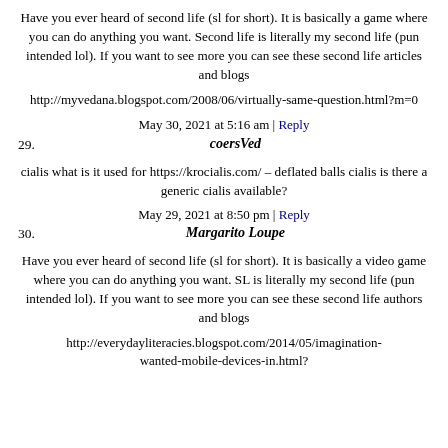Have you ever heard of second life (sl for short). It is basically a game where you can do anything you want. Second life is literally my second life (pun intended lol). If you want to see more you can see these second life articles and blogs
http://myvedana.blogspot.com/2008/06/virtually-same-question.html?m=0
May 30, 2021 at 5:16 am | Reply
29. coersVed
cialis what is it used for https://krocialis.com/ – deflated balls cialis is there a generic cialis available?
May 29, 2021 at 8:50 pm | Reply
30. Margarito Loupe
Have you ever heard of second life (sl for short). It is basically a video game where you can do anything you want. SL is literally my second life (pun intended lol). If you want to see more you can see these second life authors and blogs
http://everydayliteracies.blogspot.com/2014/05/imagination-wanted-mobile-devices-in.html?